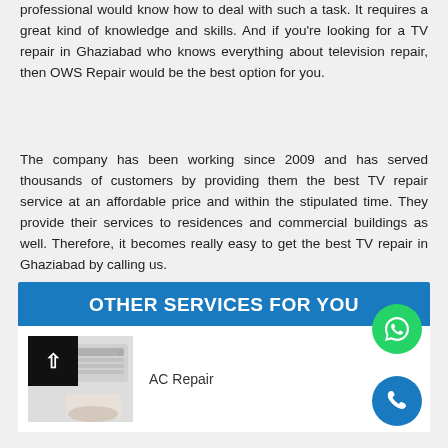professional would know how to deal with such a task. It requires a great kind of knowledge and skills. And if you're looking for a TV repair in Ghaziabad who knows everything about television repair, then OWS Repair would be the best option for you.
The company has been working since 2009 and has served thousands of customers by providing them the best TV repair service at an affordable price and within the stipulated time. They provide their services to residences and commercial buildings as well. Therefore, it becomes really easy to get the best TV repair in Ghaziabad by calling us.
OTHER SERVICES FOR YOU
[Figure (photo): AC Repair service image showing an AC unit with a hand, alongside a back-to-top button]
AC Repair